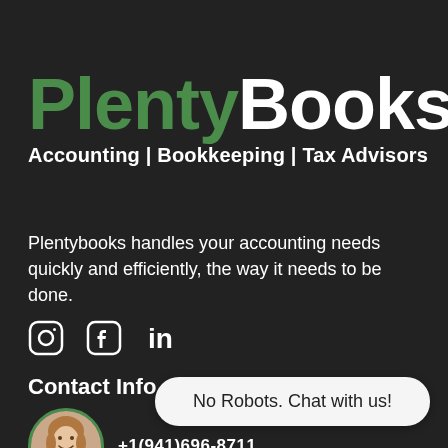PlentyBooks
Accounting | Bookkeeping | Tax Advisors
Plentybooks handles your accounting needs quickly and efficiently, the way it needs to be done.
[Figure (logo): Social media icons: Instagram, Facebook, LinkedIn]
Contact Info
[Figure (photo): Circular avatar photo of a smiling woman with shoulder-length hair, green border]
+1(941)696-8711
No Robots. Chat with us!